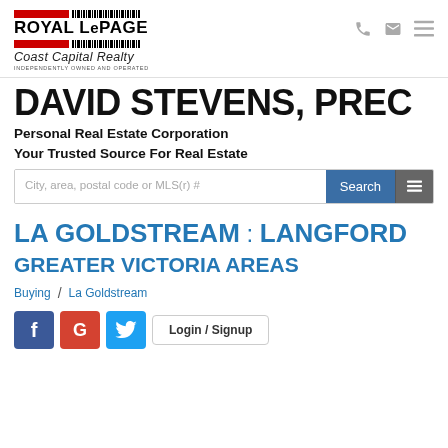Royal LePage Coast Capital Realty — Independently Owned and Operated
DAVID STEVENS, PREC
Personal Real Estate Corporation
Your Trusted Source For Real Estate
City, area, postal code or MLS(r) # [Search]
LA GOLDSTREAM : LANGFORD
GREATER VICTORIA AREAS
Buying / La Goldstream
f G [twitter] Login / Signup